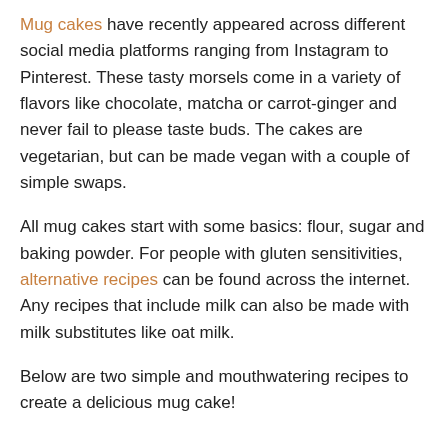Mug cakes have recently appeared across different social media platforms ranging from Instagram to Pinterest. These tasty morsels come in a variety of flavors like chocolate, matcha or carrot-ginger and never fail to please taste buds. The cakes are vegetarian, but can be made vegan with a couple of simple swaps.
All mug cakes start with some basics: flour, sugar and baking powder. For people with gluten sensitivities, alternative recipes can be found across the internet. Any recipes that include milk can also be made with milk substitutes like oat milk.
Below are two simple and mouthwatering recipes to create a delicious mug cake!